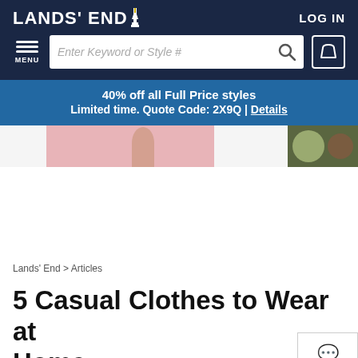LANDS' END
LOG IN
MENU
Enter Keyword or Style #
40% off all Full Price styles
Limited time. Quote Code: 2X9Q | Details
[Figure (photo): Partial banner image showing pink background and a person, plus a photo of a woman on the right side]
Lands' End > Articles
5 Casual Clothes to Wear at Home